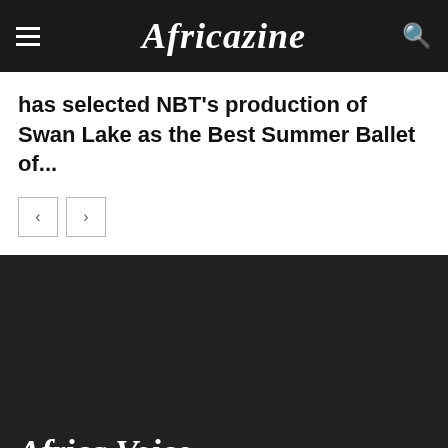Africazine
has selected NBT's production of Swan Lake as the Best Summer Ballet of...
[Figure (other): Navigation previous and next buttons (left arrow, right arrow) for cycling through content]
Africa Voice